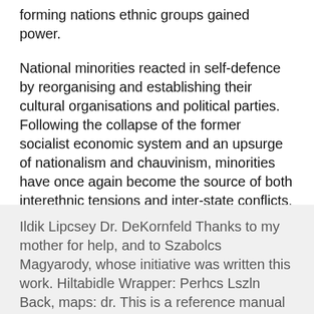forming nations ethnic groups gained power.
National minorities reacted in self-defence by reorganising and establishing their cultural organisations and political parties. Following the collapse of the former socialist economic system and an upsurge of nationalism and chauvinism, minorities have once again become the source of both interethnic tensions and inter-state conflicts.
Ildik Lipcsey Dr. DeKornfeld Thanks to my mother for help, and to Szabolcs Magyarody, whose initiative was written this work. Hiltabidle Wrapper: Perhcs Lszln Back, maps: dr. This is a reference manual not only in the field of textbook literature but it is just as much a reference manual for us who labor in the regions wrested